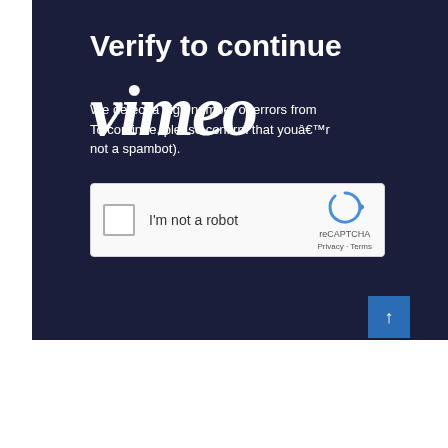Verify to continue
[Figure (logo): Vimeo logo in large italic white text overlaid on dark background]
We detect a high number of errors from your connection. To continue, please confirm that youâ€™re a human (and not a spambot).
[Figure (screenshot): reCAPTCHA widget with checkbox labeled I'm not a robot, reCAPTCHA logo, Privacy and Terms links]
[Figure (other): Scroll to top button with upward arrow, teal/blue background]